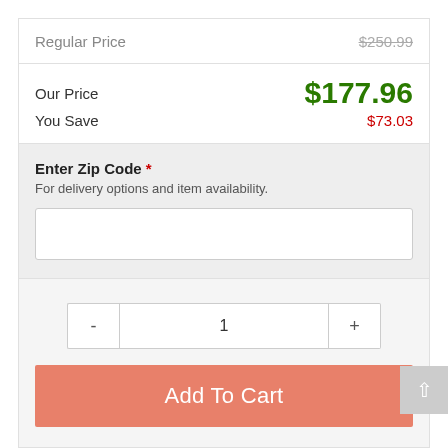Regular Price $250.99
Our Price $177.96
You Save $73.03
Enter Zip Code *
For delivery options and item availability.
1
Add To Cart
Share This Item